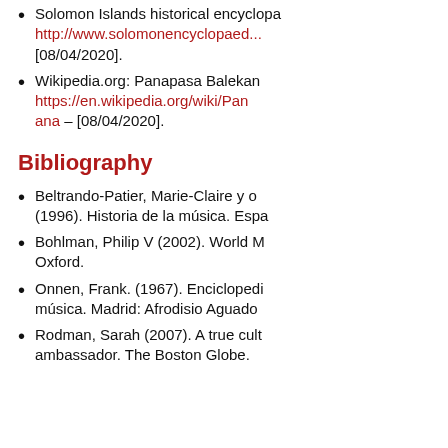Solomon Islands historical encyclopaedia. http://www.solomonencyclopaedia... [08/04/2020].
Wikipedia.org: Panapasa Balekan... https://en.wikipedia.org/wiki/Pan...ana – [08/04/2020].
Bibliography
Beltrando-Patier, Marie-Claire y o... (1996). Historia de la música. Espa...
Bohlman, Philip V (2002). World M... Oxford.
Onnen, Frank. (1967). Enciclopedi... música. Madrid: Afrodisio Aguado...
Rodman, Sarah (2007). A true cult... ambassador. The Boston Globe.
parties authorized). If you keep visiting the website, we assume you accept their use. You can change the configure or obtain more information here